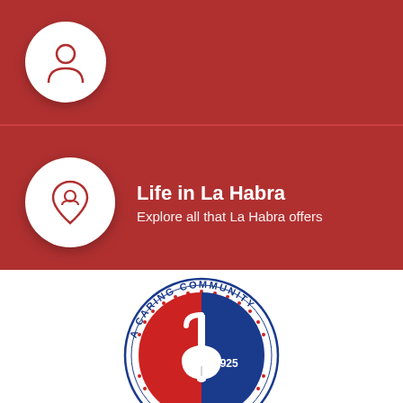[Figure (infographic): Red background section with two rows. Top row: white circle icon with person/user silhouette (partially visible, cropped at top). Bottom row: white circle icon with location pin containing person silhouette, with text 'Life in La Habra' and 'Explore all that La Habra offers'.]
Life in La Habra
Explore all that La Habra offers
[Figure (logo): City of La Habra circular seal/logo. Text reads 'A CARING COMMUNITY' around top arc with stars. Center shows a street lamp bell icon split between red and blue halves. Text 'EST. 1925' in blue half. Circular border with stars.]